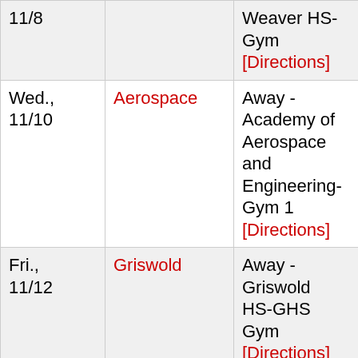| Date | Opponent | Location | Time |
| --- | --- | --- | --- |
| 11/8 |  | Weaver HS-Gym [Directions] | p.m. |
| Wed., 11/10 | Aerospace | Away - Academy of Aerospace and Engineering-Gym 1 [Directions] | 4:30 p.m. |
| Fri., 11/12 | Griswold | Away - Griswold HS-GHS Gym [Directions] | 6:00 p.m. |